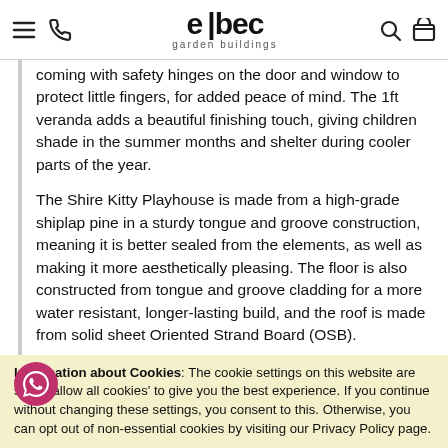elbec garden buildings
coming with safety hinges on the door and window to protect little fingers, for added peace of mind. The 1ft veranda adds a beautiful finishing touch, giving children shade in the summer months and shelter during cooler parts of the year.
The Shire Kitty Playhouse is made from a high-grade shiplap pine in a sturdy tongue and groove construction, meaning it is better sealed from the elements, as well as making it more aesthetically pleasing. The floor is also constructed from tongue and groove cladding for a more water resistant, longer-lasting build, and the roof is made from solid sheet Oriented Strand Board (OSB).
This Shire playhouse is supplied with a dip-treated base coat as standard, with a top coat available as an option for a stronger and golden brown finish. The Kitty Playhouse does not come pre-painted, giving you a blank canvas to tailor to the children's desires. The
Information about Cookies: The cookie settings on this website are set to 'allow all cookies' to give you the best experience. If you continue without changing these settings, you consent to this. Otherwise, you can opt out of non-essential cookies by visiting our Privacy Policy page.